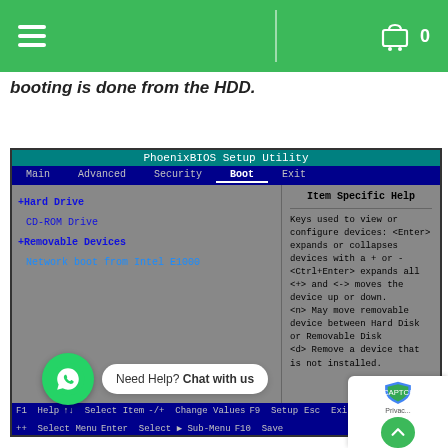PhoenixBIOS Setup Utility — website header with hamburger menu and cart
booting is done from the HDD.
[Figure (screenshot): PhoenixBIOS Setup Utility screenshot showing Boot menu with Hard Drive, CD-ROM Drive, Removable Devices, Network boot from Intel E1000. Right panel shows Item Specific Help text. Bottom status bar shows F1 Help, Esc Exit, F9 Setup, F10 Save keyboard shortcuts.]
Need Help? Chat with us